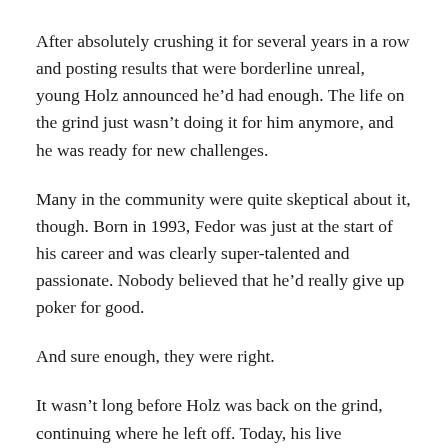After absolutely crushing it for several years in a row and posting results that were borderline unreal, young Holz announced he'd had enough. The life on the grind just wasn't doing it for him anymore, and he was ready for new challenges.
Many in the community were quite skeptical about it, though. Born in 1993, Fedor was just at the start of his career and was clearly super-talented and passionate. Nobody believed that he'd really give up poker for good.
And sure enough, they were right.
It wasn't long before Holz was back on the grind, continuing where he left off. Today, his live tournament earnings stand at $32.5 million and will likely continue to climb in the years to come.